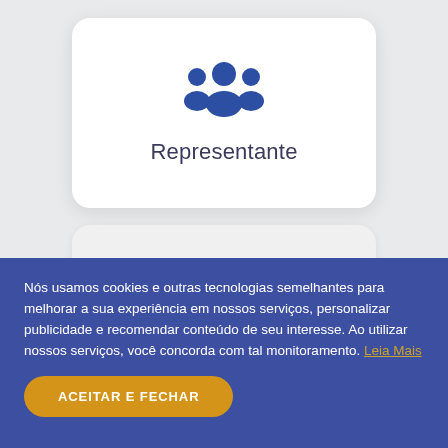[Figure (illustration): White card with blue group/people icon representing 'Representante' (Representative) user type]
Representante
[Figure (illustration): Gray card with blue single person/user icon representing another user type]
Nós usamos cookies e outras tecnologias semelhantes para melhorar a sua experiência em nossos serviços, personalizar publicidade e recomendar conteúdo de seu interesse. Ao utilizar nossos serviços, você concorda com tal monitoramento. Leia Mais
ACEITAR E FECHAR